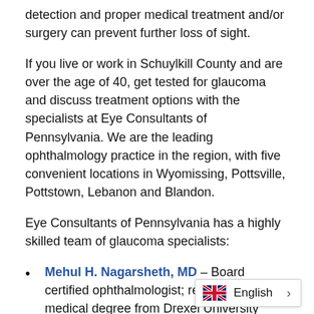detection and proper medical treatment and/or surgery can prevent further loss of sight.
If you live or work in Schuylkill County and are over the age of 40, get tested for glaucoma and discuss treatment options with the specialists at Eye Consultants of Pennsylvania. We are the leading ophthalmology practice in the region, with five convenient locations in Wyomissing, Pottsville, Pottstown, Lebanon and Blandon.
Eye Consultants of Pennsylvania has a highly skilled team of glaucoma specialists:
Mehul H. Nagarsheth, MD – Board certified ophthalmologist; received his medical degree from Drexel University College of Medicine; fellowship-trained in gla… England Eye Center and C…
[Figure (other): Language selector overlay showing UK flag and 'English' with a right arrow chevron]